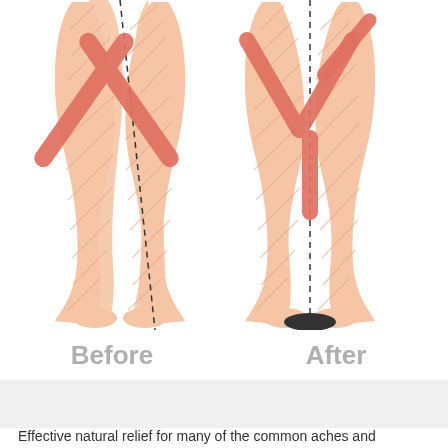[Figure (illustration): Medical illustration showing two rear-views of lower legs/ankles. Left side labeled 'Before' shows legs with an X shape (crossing/misalignment indicated by two crossing salmon-colored arrows) and a dashed vertical centerline that does not align with the heel. Right side labeled 'After' shows legs with a Y/checkmark shape (proper alignment indicated by salmon-colored arrows) and a dashed vertical centerline aligned with the heel (shown with a black heel/orthotic).]
Before   After
Effective natural relief for many of the common aches and